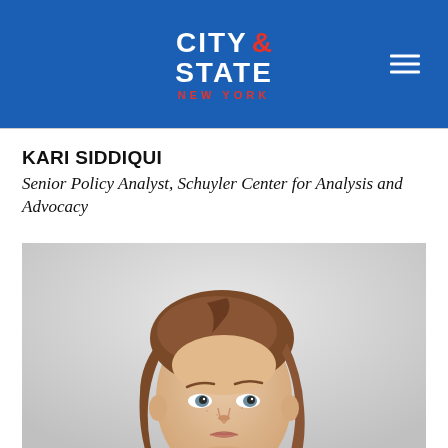CITY & STATE NEW YORK
KARI SIDDIQUI
Senior Policy Analyst, Schuyler Center for Analysis and Advocacy
[Figure (photo): Head and shoulders portrait photo of Kari Siddiqui, a woman with medium-length auburn/brown hair, looking slightly upward, on a light gray background.]